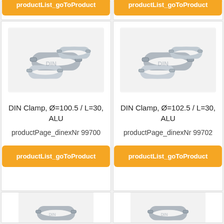productList_goToProduct
productList_goToProduct
[Figure (photo): Metal DIN pipe clamps, three rings, silver/zinc, ALU material]
DIN Clamp, Ø=100.5 / L=30, ALU
productPage_dinexNr 99700
productList_goToProduct
[Figure (photo): Metal DIN pipe clamps, three rings, silver/zinc, ALU material]
DIN Clamp, Ø=102.5 / L=30, ALU
productPage_dinexNr 99702
productList_goToProduct
[Figure (photo): Partial view of metal DIN pipe clamps at bottom of page]
[Figure (photo): Partial view of metal DIN pipe clamps at bottom of page]